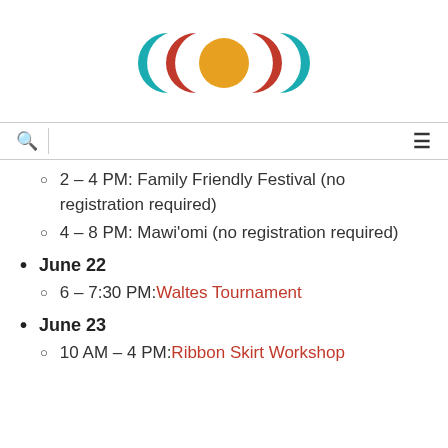[Figure (logo): Decorative logo with crescent moons and sun: teal left crescent, red-orange left crescent, yellow-orange circle/sun, red-orange right crescent, teal right crescent]
2 – 4 PM: Family Friendly Festival (no registration required)
4 – 8 PM: Mawi'omi (no registration required)
June 22
6 – 7:30 PM: Waltes Tournament
June 23
10 AM – 4 PM: Ribbon Skirt Workshop